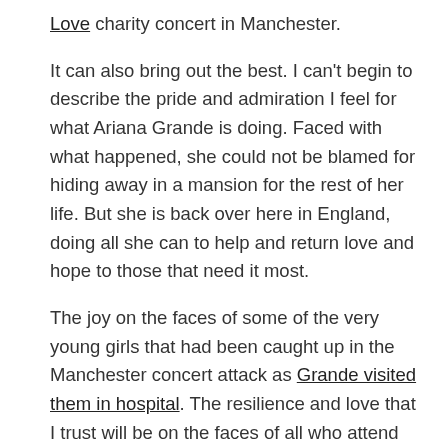Love charity concert in Manchester.
It can also bring out the best. I can’t begin to describe the pride and admiration I feel for what Ariana Grande is doing. Faced with what happened, she could not be blamed for hiding away in a mansion for the rest of her life. But she is back over here in England, doing all she can to help and return love and hope to those that need it most.
The joy on the faces of some of the very young girls that had been caught up in the Manchester concert attack as Grande visited them in hospital. The resilience and love that I trust will be on the faces of all who attend the One Love concert tonight.
Earlier this morning, my Twitter friend Russ Jones